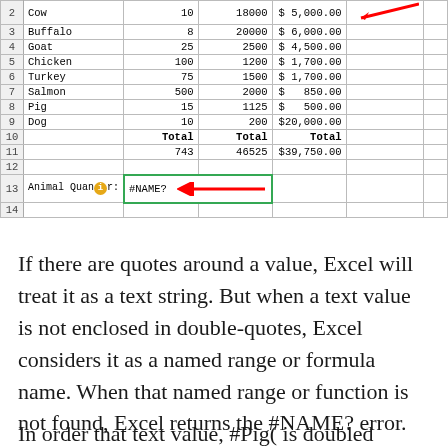[Figure (screenshot): Excel spreadsheet screenshot showing animal data with rows 2-14. Row 2: Cow, 10, 18000, $5,000.00. Row 3: Buffalo, 8, 20000, $6,000.00. Row 4: Goat, 25, 2500, $4,500.00. Row 5: Chicken, 100, 1200, $1,700.00. Row 6: Turkey, 75, 1500, $1,700.00. Row 7: Salmon, 500, 2000, $850.00. Row 8: Pig, 15, 1125, $500.00. Row 9: Dog, 10, 200, $20,000.00. Row 10: Total Total Total. Row 11: 743, 46525, $39,750.00. Row 12: empty. Row 13: Animal Quan[warning icon]r: #NAME? with red arrow. Row 14: empty. Red arrow in top right near row 2.]
If there are quotes around a value, Excel will treat it as a text string. But when a text value is not enclosed in double-quotes, Excel considers it as a named range or formula name. When that named range or function is not found, Excel returns the #NAME? error.
In order that text value, #Pig( is doubled